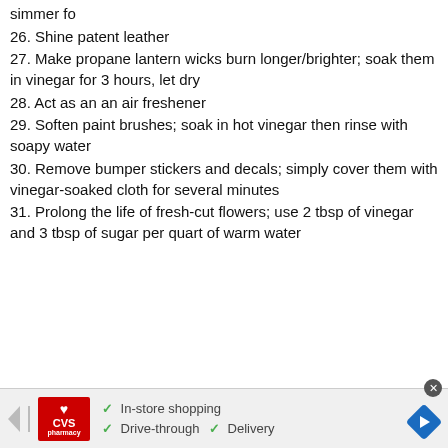simmer fo
26. Shine patent leather
27. Make propane lantern wicks burn longer/brighter; soak them in vinegar for 3 hours, let dry
28. Act as an an air freshener
29. Soften paint brushes; soak in hot vinegar then rinse with soapy water
30. Remove bumper stickers and decals; simply cover them with vinegar-soaked cloth for several minutes
31. Prolong the life of fresh-cut flowers; use 2 tbsp of vinegar and 3 tbsp of sugar per quart of warm water
[Figure (infographic): CVS Pharmacy advertisement banner with logo, checkmarks for In-store shopping, Drive-through, and Delivery, and a navigation arrow icon]